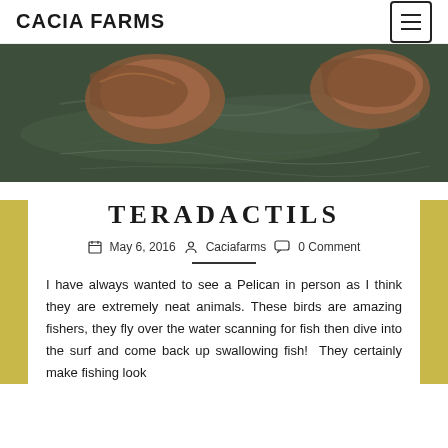CACIA FARMS
[Figure (photo): Aerial or close-up view of pelicans on dark green water surface]
TERADACTILS
May 6, 2016   Caciafarms   0 Comment
I have always wanted to see a Pelican in person as I think they are extremely neat animals. These birds are amazing fishers, they fly over the water scanning for fish then dive into the surf and come back up swallowing fish!  They certainly make fishing look